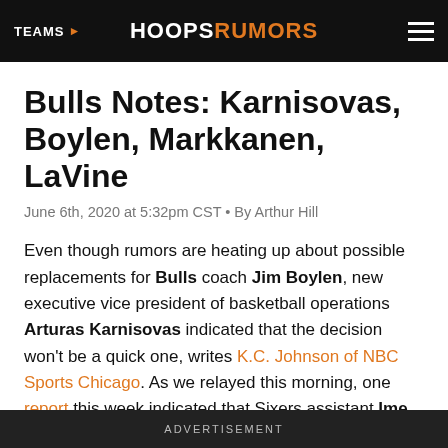TEAMS ▶   HOOPSRUMORS
Bulls Notes: Karnisovas, Boylen, Markkanen, LaVine
June 6th, 2020 at 5:32pm CST • By Arthur Hill
Even though rumors are heating up about possible replacements for Bulls coach Jim Boylen, new executive vice president of basketball operations Arturas Karnisovas indicated that the decision won't be a quick one, writes K.C. Johnson of NBC Sports Chicago. As we relayed this morning, one report this week indicated that Sixers assistant Ime Udoka is the front-runner to replace
ADVERTISEMENT